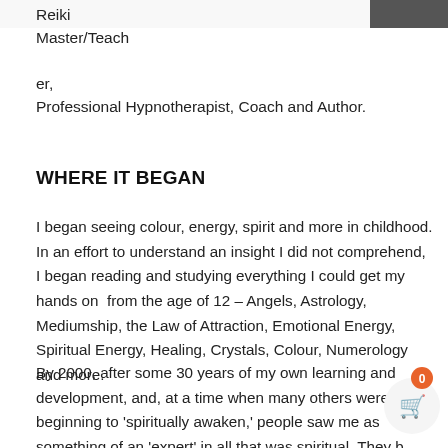[Figure (photo): Partial photograph visible at top of page showing a person, cropped]
Reiki Master/Teacher, Professional Hypnotherapist, Coach and Author.
WHERE IT BEGAN
I began seeing colour, energy, spirit and more in childhood. In an effort to understand an insight I did not comprehend, I began reading and studying everything I could get my hands on from the age of 12 – Angels, Astrology, Mediumship, the Law of Attraction, Emotional Energy, Spiritual Energy, Healing, Crystals, Colour, Numerology and more.
By 2000, after some 30 years of my own learning and development, and, at a time when many others were just beginning to 'spiritually awaken,' people saw me as something of an 'expert' in all that was spiritual. They b...